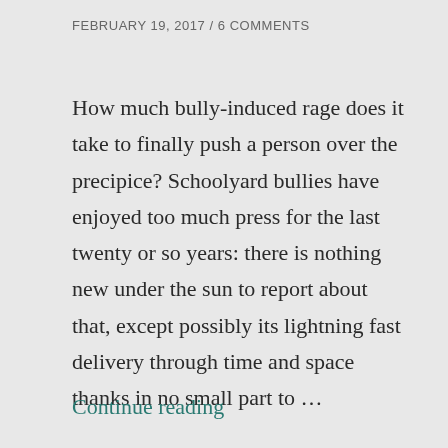FEBRUARY 19, 2017 / 6 COMMENTS
How much bully-induced rage does it take to finally push a person over the precipice? Schoolyard bullies have enjoyed too much press for the last twenty or so years: there is nothing new under the sun to report about that, except possibly its lightning fast delivery through time and space thanks in no small part to …
Continue reading